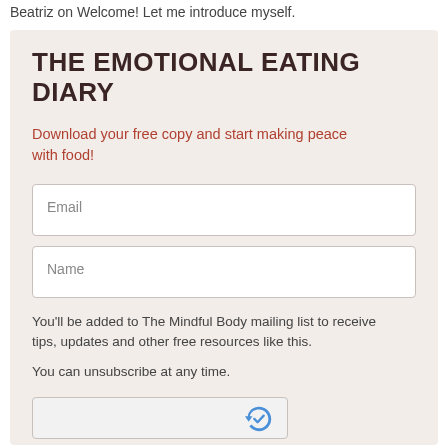Beatriz on Welcome! Let me introduce myself.
THE EMOTIONAL EATING DIARY
Download your free copy and start making peace with food!
Email
Name
You'll be added to The Mindful Body mailing list to receive tips, updates and other free resources like this.
You can unsubscribe at any time.
[Figure (other): reCAPTCHA verification widget with blue bird/check icon]